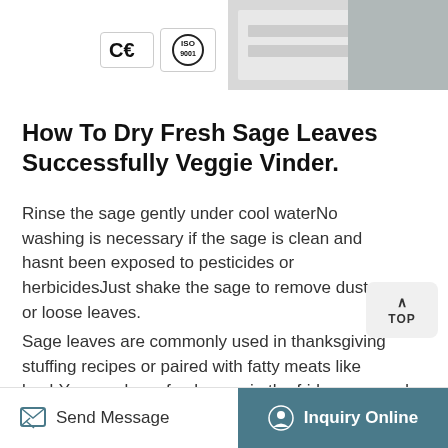[Figure (logo): CE and ISO certification badges]
How To Dry Fresh Sage Leaves Successfully Veggie Vinder.
Rinse the sage gently under cool waterNo washing is necessary if the sage is clean and hasnt been exposed to pesticides or herbicidesJust shake the sage to remove dust or loose leaves.
Sage leaves are commonly used in thanksgiving stuffing recipes or paired with fatty meats like lambYou can keep fresh sage in the fridge wrapped in a slightly damp paper towel and placed in a plastic bag or make dried sage in your oven or using a dehydrator.
Send Message   Inquiry Online